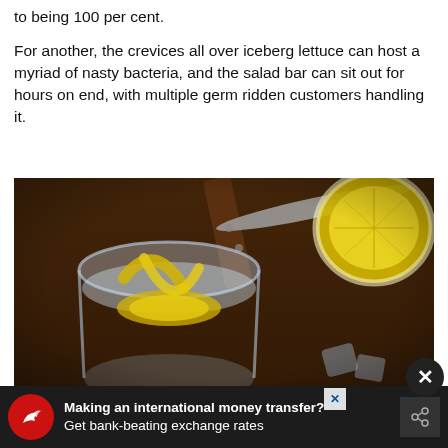to being 100 per cent.
For another, the crevices all over iceberg lettuce can host a myriad of nasty bacteria, and the salad bar can sit out for hours on end, with multiple germ ridden customers handling it.
[Figure (photo): Overhead view of a glass of water with lemon slices and ice, a knife, and a halved lemon on a dark wooden surface with ice cubes scattered nearby.]
Making an international money transfer? Get bank-beating exchange rates